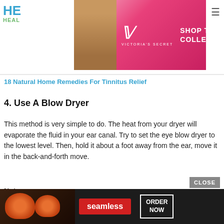HE... HEAL... [header with Victoria's Secret advertisement banner]
18 Natural Home Remedies For Tinnitus Relief
4. Use A Blow Dryer
This method is very simple to do. The heat from your dryer will evaporate the fluid in your ear canal. Try to set the eye blow dryer to the lowest level. Then, hold it about a foot away from the ear, move it in the back-and-forth move.
Note: ;
You May Like:  Phonak Tv Link Pairing
[Figure (advertisement): Seamless food delivery advertisement banner at bottom of page with pizza image, seamless badge, and ORDER NOW button]